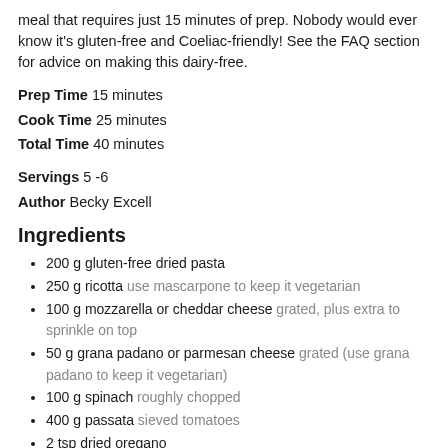meal that requires just 15 minutes of prep. Nobody would ever know it's gluten-free and Coeliac-friendly! See the FAQ section for advice on making this dairy-free.
Prep Time 15 minutes
Cook Time 25 minutes
Total Time 40 minutes
Servings 5 -6
Author Becky Excell
Ingredients
200 g gluten-free dried pasta
250 g ricotta use mascarpone to keep it vegetarian
100 g mozzarella or cheddar cheese grated, plus extra to sprinkle on top
50 g grana padano or parmesan cheese grated (use grana padano to keep it vegetarian)
100 g spinach roughly chopped
400 g passata sieved tomatoes
2 tsp dried oregano
1 tbsp garlic-infused oil